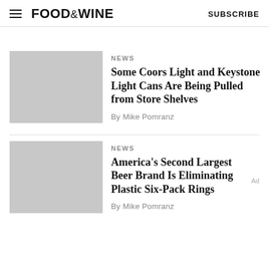FOOD&WINE  SUBSCRIBE
NEWS
Some Coors Light and Keystone Light Cans Are Being Pulled from Store Shelves
By Mike Pomranz
NEWS
America's Second Largest Beer Brand Is Eliminating Plastic Six-Pack Rings
By Mike Pomranz